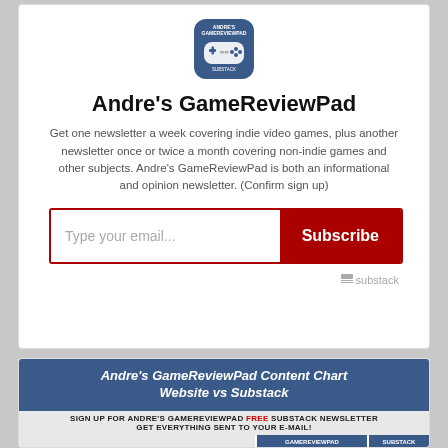[Figure (logo): Andre's GameReviewPad app icon — blue rounded square with game controller]
Andre's GameReviewPad
Get one newsletter a week covering indie video games, plus another newsletter once or twice a month covering non-indie games and other subjects. Andre's GameReviewPad is both an informational and opinion newsletter. (Confirm sign up)
[Figure (screenshot): Email subscription form with 'Type your email...' input and dark red 'Subscribe' button, with Substack logo]
[Figure (infographic): Andre's GameReviewPad Content Chart: Website vs Substack — blue header with italic bold title, grey subheader reading 'SIGN UP FOR ANDRE'S GAMEREVIEWPAD FREE SUBSTACK NEWSLETTER GET EVERYTHING SENT TO YOUR E-MAIL!' with FREE in red, and blue column headers for GAMEREVIEWPAD and SUBSTACK below]